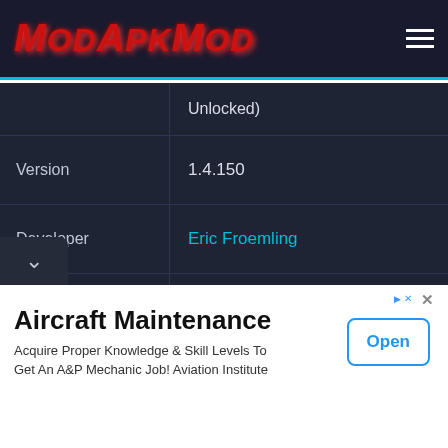ModApkMod
| Field | Value |
| --- | --- |
|  | Unlocked) |
| Version | 1.4.150 |
| Developer | Eric Froemling |
| Android Required | 4.0+ |
| Total Downloads | 10,000,000+ |
[Figure (screenshot): Advertisement banner for Aircraft Maintenance course with Open button]
Aircraft Maintenance
Acquire Proper Knowledge & Skill Levels To Get An A&P Mechanic Job! Aviation Institute